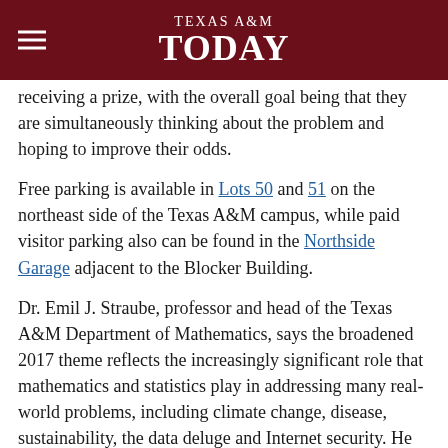TEXAS A&M TODAY
receiving a prize, with the overall goal being that they are simultaneously thinking about the problem and hoping to improve their odds.
Free parking is available in Lots 50 and 51 on the northeast side of the Texas A&M campus, while paid visitor parking also can be found in the Northside Garage adjacent to the Blocker Building.
Dr. Emil J. Straube, professor and head of the Texas A&M Department of Mathematics, says the broadened 2017 theme reflects the increasingly significant role that mathematics and statistics play in addressing many real-world problems, including climate change, disease, sustainability, the data deluge and Internet security. He notes that, because of the complexities of global challenges and their possible solutions, a multidisciplinary approach founded in mathematics and statistics is more vital than ever before.